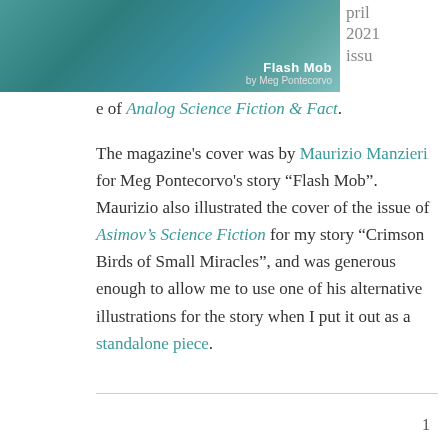[Figure (photo): Magazine cover image showing an aquatic/underwater scene in teal tones with text 'Flash Mob by Meg Pontecorvo' overlaid]
pril 2021 issue of Analog Science Fiction & Fact.
The magazine's cover was by Maurizio Manzieri for Meg Pontecorvo's story “Flash Mob”. Maurizio also illustrated the cover of the issue of Asimov's Science Fiction for my story “Crimson Birds of Small Miracles”, and was generous enough to allow me to use one of his alternative illustrations for the story when I put it out as a standalone piece.
1